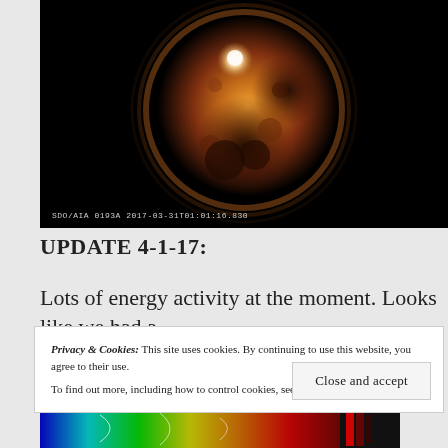[Figure (photo): SDO/AIA solar image showing the sun in extreme ultraviolet light (193Å), dated 2017-03-31T01:01:16.830, with a bright flare/active region visible near the top-center of the solar disk against a dark background. The sun appears in amber/orange tones.]
SDO/AIA 0193A 2017-03-31T01:01:16.830
UPDATE 4-1-17:
Lots of energy activity at the moment. Looks like we had a
Privacy & Cookies: This site uses cookies. By continuing to use this website, you agree to their use.
To find out more, including how to control cookies, see here: Cookie Policy
[Figure (photo): Bottom strip showing a colorful solar map or magnetogram with rainbow color scale and white contour lines overlaid on a dark background, partially visible at the bottom of the page.]